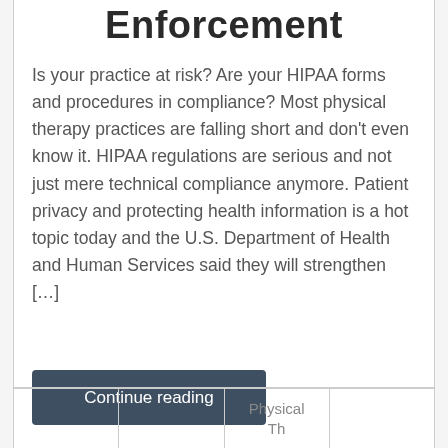Enforcement
Is your practice at risk? Are your HIPAA forms and procedures in compliance? Most physical therapy practices are falling short and don't even know it. HIPAA regulations are serious and not just mere technical compliance anymore. Patient privacy and protecting health information is a hot topic today and the U.S. Department of Health and Human Services said they will strengthen […]
Continue reading
Physical Th…